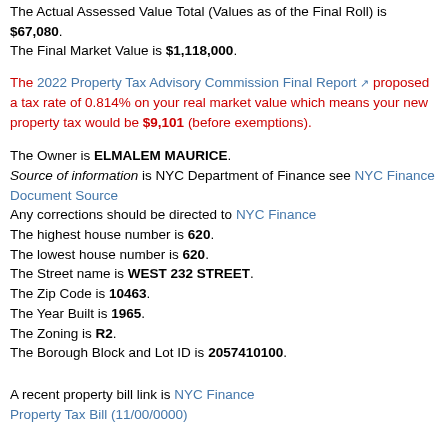The Actual Assessed Value Total (Values as of the Final Roll) is $67,080. The Final Market Value is $1,118,000.
The 2022 Property Tax Advisory Commission Final Report proposed a tax rate of 0.814% on your real market value which means your new property tax would be $9,101 (before exemptions).
The Owner is ELMALEM MAURICE. Source of information is NYC Department of Finance see NYC Finance Document Source Any corrections should be directed to NYC Finance The highest house number is 620. The lowest house number is 620. The Street name is WEST 232 STREET. The Zip Code is 10463. The Year Built is 1965. The Zoning is R2. The Borough Block and Lot ID is 2057410100.
A recent property bill link is NYC Finance Property Tax Bill (11/00/0000)